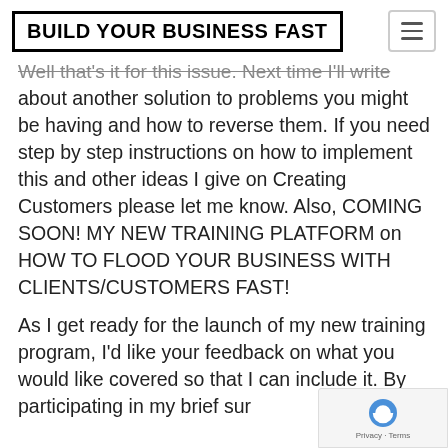BUILD YOUR BUSINESS FAST
Well that's it for this issue.  Next time I'll write about another solution to problems you might be having and how to reverse them. If you need step by step instructions on how to implement this and other ideas I give on Creating Customers please let me know.  Also, COMING SOON! MY NEW TRAINING PLATFORM on HOW TO FLOOD YOUR BUSINESS WITH CLIENTS/CUSTOMERS FAST!
As I get ready for the launch of my new training program, I'd like your feedback on what you would like covered so that I can include it. By participating in my brief sur...